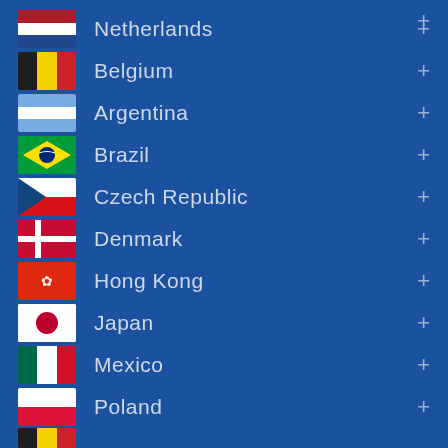Netherlands
Belgium
Argentina
Brazil
Czech Republic
Denmark
Hong Kong
Japan
Mexico
Poland